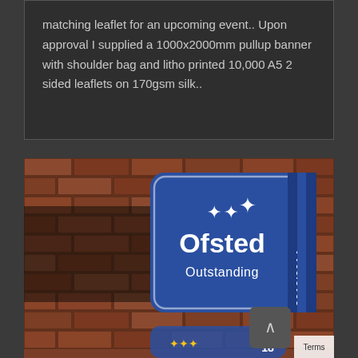matching leaflet for an upcoming event.. Upon approval I supplied a 1000x2000mm pullup banner with shoulder bag and litho printed 10,000 A5 2 sided leaflets on 170gsm silk..
[Figure (photo): Photograph of Ofsted Outstanding award signs (2013|2014 and 2018) mounted on a red brick wall outside a school building.]